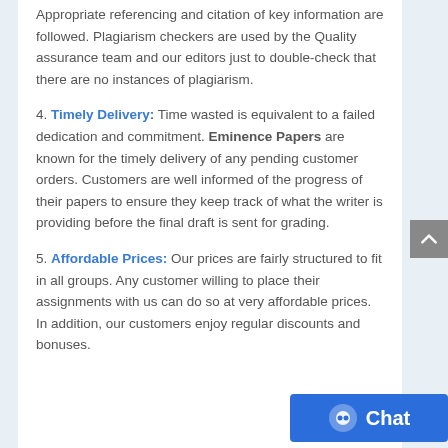Appropriate referencing and citation of key information are followed. Plagiarism checkers are used by the Quality assurance team and our editors just to double-check that there are no instances of plagiarism.
4. Timely Delivery: Time wasted is equivalent to a failed dedication and commitment. Eminence Papers are known for the timely delivery of any pending customer orders. Customers are well informed of the progress of their papers to ensure they keep track of what the writer is providing before the final draft is sent for grading.
5. Affordable Prices: Our prices are fairly structured to fit in all groups. Any customer willing to place their assignments with us can do so at very affordable prices. In addition, our customers enjoy regular discounts and bonuses.